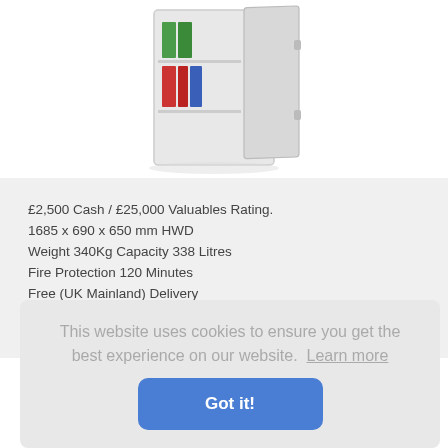[Figure (photo): A large white fire-safe cabinet with door open, showing green and red binders inside on shelves.]
£2,500 Cash / £25,000 Valuables Rating.
1685 x 690 x 650 mm HWD
Weight 340Kg Capacity 338 Litres
Fire Protection 120 Minutes
Free (UK Mainland) Delivery
This website uses cookies to ensure you get the best experience on our website.  Learn more
Got it!